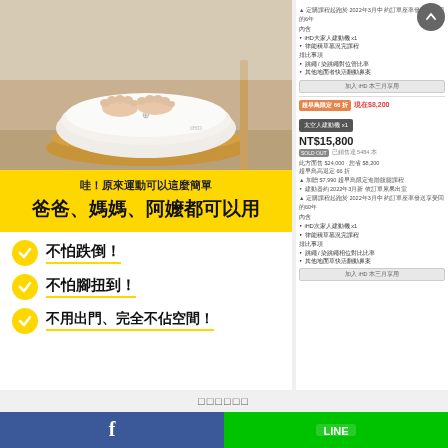[Figure (photo): Close-up photo of feet on a white circular balance board/scale with wooden base on a light floor]
哇！原來運動可以這麼簡單
爸爸、媽媽、阿嬤都可以用
不怕跌倒！
不怕腳扭到！
不用出門、完全不佔空間！
[Figure (screenshot): Right sidebar showing product listing with pricing NT$15,800, sold out badge, early bird 66折 discount, product details and features in Traditional Chinese]
□□□□□□
[Figure (logo): Facebook logo (white f on blue background)]
[Figure (logo): LINE logo (white LINE text on green background)]